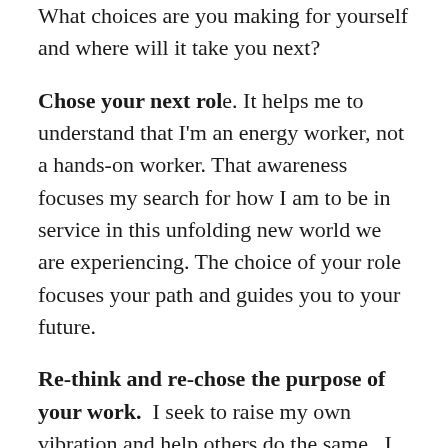What choices are you making for yourself and where will it take you next?
Chose your next role. It helps me to understand that I'm an energy worker, not a hands-on worker. That awareness focuses my search for how I am to be in service in this unfolding new world we are experiencing. The choice of your role focuses your path and guides you to your future.
Re-think and re-chose the purpose of your work. I seek to raise my own vibration and help others do the same. I do that by